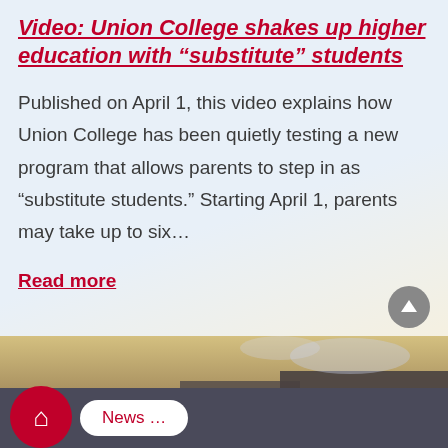Video: Union College shakes up higher education with “substitute” students
Published on April 1, this video explains how Union College has been quietly testing a new program that allows parents to step in as “substitute students.” Starting April 1, parents may take up to six...
Read more
[Figure (photo): Partial view of a building exterior with sky in background, bottom section of the page]
News ...